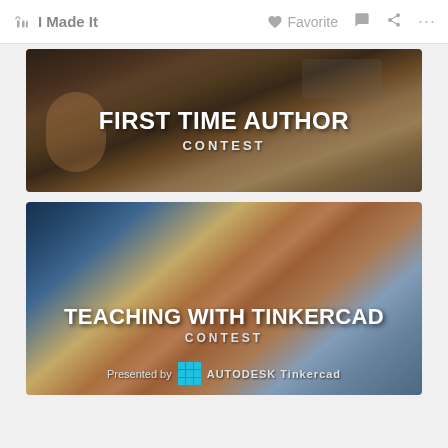I Made It  Favorite  ...
[Figure (photo): Banner image for First Time Author Contest showing crafting tools on a wooden desk surface with text overlay: FIRST TIME AUTHOR CONTEST]
[Figure (photo): Banner image for Teaching With Tinkercad Contest showing students working on laptops in a classroom with text overlay: TEACHING WITH TINKERCAD CONTEST. Presented by Tinkercad AUTODESK Tinkercad]